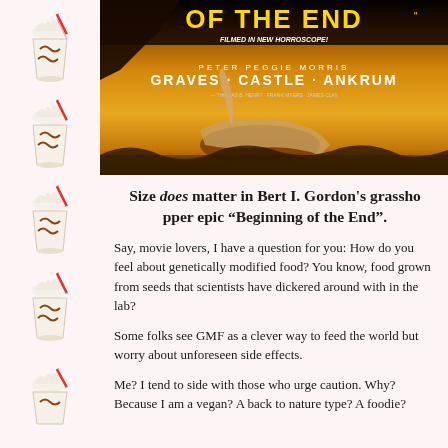[Figure (illustration): Left strip with repeated milkshake/ice cream cup illustrations with red and white striped straws against a light pink background]
[Figure (photo): Partial movie poster for 'Beginning of the End' featuring text 'OF THE END' in yellow letters, 'FILMED IN NEW HORROSCOPE!', cast names GRAVES · CASTLE · ANKRUM, with dramatic scene of people and giant locusts on orange/yellow background]
Size does matter in Bert I. Gordon's grasshopper epic 'Beginning of the End'.
Say, movie lovers, I have a question for you: How do you feel about genetically modified food? You know, food grown from seeds that scientists have dickered around with in the lab?
Some folks see GMF as a clever way to feed the world but worry about unforeseen side effects.
Me? I tend to side with those who urge caution. Why? Because I am a vegan? A back to nature type? A foodie?